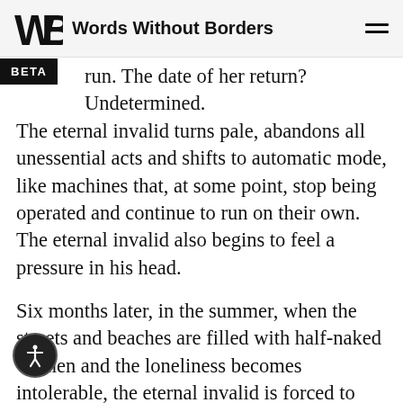Words Without Borders
run. The date of her return? Undetermined. The eternal invalid turns pale, abandons all unessential acts and shifts to automatic mode, like machines that, at some point, stop being operated and continue to run on their own. The eternal invalid also begins to feel a pressure in his head.
Six months later, in the summer, when the streets and beaches are filled with half-naked women and the loneliness becomes intolerable, the eternal invalid is forced to rally a little, to recuperate in his paleness and to once again amuse himself with a familiar logical analysis: what's